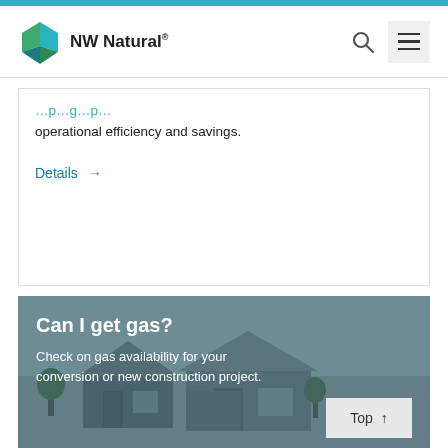NW Natural®
operational efficiency and savings.
Details →
Can I get gas?
Check on gas availability for your conversion or new construction project.